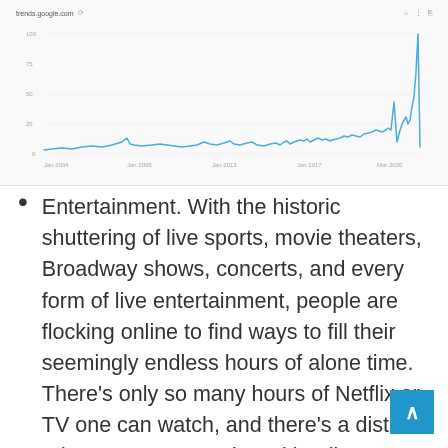[Figure (continuous-plot): Google Trends-style line chart showing search interest over time (approximately 2004–2020). The line stays mostly flat and low with occasional spikes, then dramatically spikes upward at the far right end (around 2020), indicating a massive recent surge in interest.]
Entertainment. With the historic shuttering of live sports, movie theaters, Broadway shows, concerts, and every form of live entertainment, people are flocking online to find ways to fill their seemingly endless hours of alone time. There’s only so many hours of Netflix or TV one can watch, and there’s a distinct advantage to engaging with a live performer. There may not be huge profits in providing an online show of